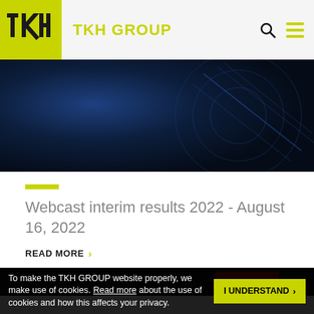[Figure (logo): TKH Group logo — yellow-green square with TKH monogram, brand name TKH GROUP in yellow-green text]
[Figure (photo): Dark blue technology/circuit board hero image with glowing blue circular elements]
Webcast interim results 2022 - August 16, 2022
READ MORE >
[Figure (photo): Dark background with red element visible at bottom of page]
To make the TKH GROUP website properly, we make use of cookies. Read more about the use of cookies and how this affects your privacy.
I UNDERSTAND >